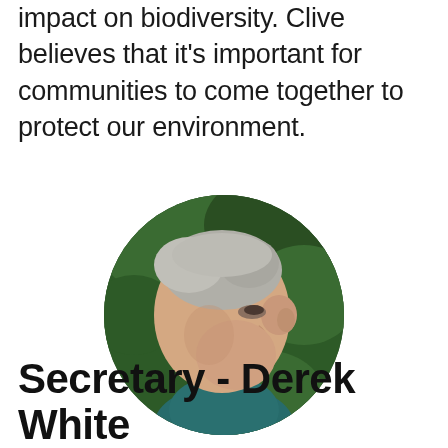impact on biodiversity. Clive believes that it's important for communities to come together to protect our environment.
[Figure (photo): Circular portrait photo of an older man with grey hair, shown in profile/three-quarter view, outdoors with green foliage background, wearing a teal/green top]
Secretary - Derek White